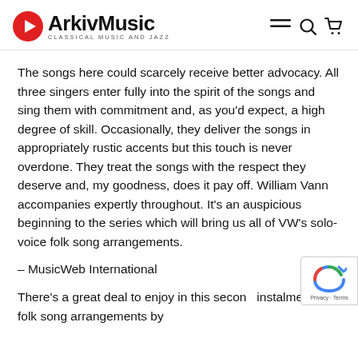ArkivMusic — CLASSICAL MUSIC AND JAZZ
The songs here could scarcely receive better advocacy. All three singers enter fully into the spirit of the songs and sing them with commitment and, as you'd expect, a high degree of skill. Occasionally, they deliver the songs in appropriately rustic accents but this touch is never overdone. They treat the songs with the respect they deserve and, my goodness, does it pay off. William Vann accompanies expertly throughout. It's an auspicious beginning to the series which will bring us all of VW's solo-voice folk song arrangements.
– MusicWeb International
There's a great deal to enjoy in this second instalment of folk song arrangements by